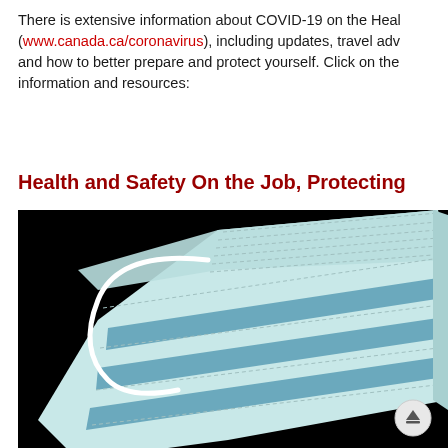There is extensive information about COVID-19 on the Health Canada (www.canada.ca/coronavirus), including updates, travel advisories and how to better prepare and protect yourself. Click on the information and resources:
Health and Safety On the Job, Protecting
[Figure (illustration): Illustration of a light blue surgical face mask with ear loops on a black background. A small scroll-to-top button is visible in the lower right corner.]